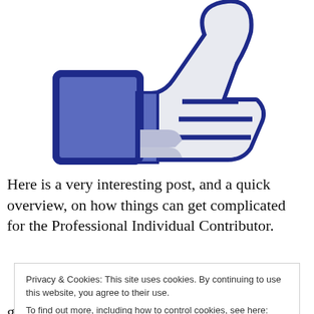[Figure (illustration): Facebook-style thumbs up 'Like' icon in dark blue outline with blue and grey fill]
Here is a very interesting post, and a quick overview, on how things can get complicated for the Professional Individual Contributor.
Privacy & Cookies: This site uses cookies. By continuing to use this website, you agree to their use.
To find out more, including how to control cookies, see here: Cookie Policy
greater point is we just lost the modern equivalent of a